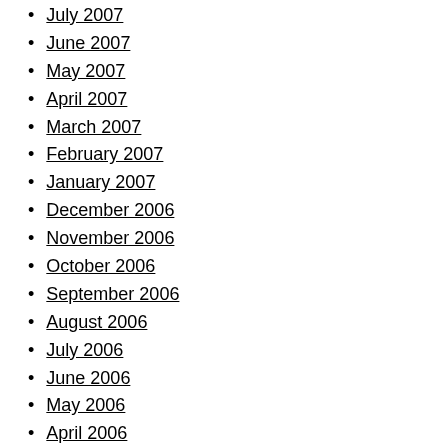July 2007
June 2007
May 2007
April 2007
March 2007
February 2007
January 2007
December 2006
November 2006
October 2006
September 2006
August 2006
July 2006
June 2006
May 2006
April 2006
March 2006
February 2006
January 2006
December 2005
November 2005
October 2005